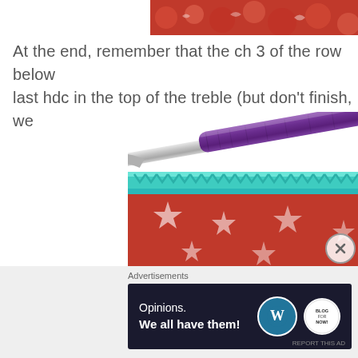[Figure (photo): Partial view of red and white crochet fabric, top right corner of page]
At the end, remember that the ch 3 of the row below last hdc in the top of the treble (but don't finish, we
[Figure (photo): Close-up photo of red and white crochet work with a row of teal stitches, and a crochet hook with purple handle and silver shaft inserted into the work]
Advertisements
[Figure (screenshot): Advertisement banner: dark navy background with text 'Opinions. We all have them!' and WordPress logo and another circular logo on the right]